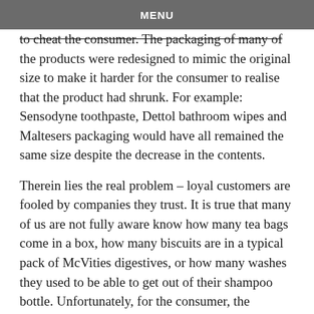MENU
to cheat the consumer. The packaging of many of the products were redesigned to mimic the original size to make it harder for the consumer to realise that the product had shrunk. For example: Sensodyne toothpaste, Dettol bathroom wipes and Maltesers packaging would have all remained the same size despite the decrease in the contents.
Therein lies the real problem – loyal customers are fooled by companies they trust. It is true that many of us are not fully aware know how many tea bags come in a box, how many biscuits are in a typical pack of McVities digestives, or how many washes they used to be able to get out of their shampoo bottle. Unfortunately, for the consumer, the manufacturer knows that the average consumers inherently focus on two qualities when it comes to